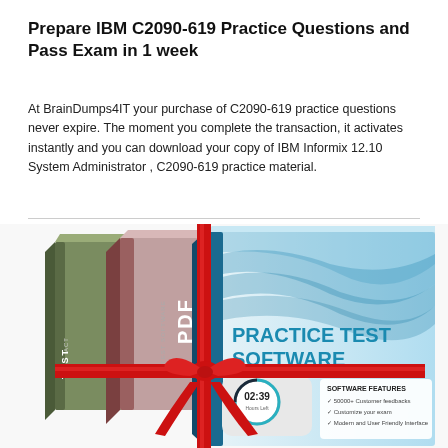Prepare IBM C2090-619 Practice Questions and Pass Exam in 1 week
At BrainDumps4IT your purchase of C2090-619 practice questions never expire. The moment you complete the transaction, it activates instantly and you can download your copy of IBM Informix 12.10 System Administrator , C2090-619 practice material.
[Figure (illustration): Product box set showing PDF, Test Software, and Practice Test Software boxes with red ribbon, a timer showing 02:39 Hours Left, and software features list including 50000+ Customer feedbacks, Customize your exam, Modern and User Friendly Interface]